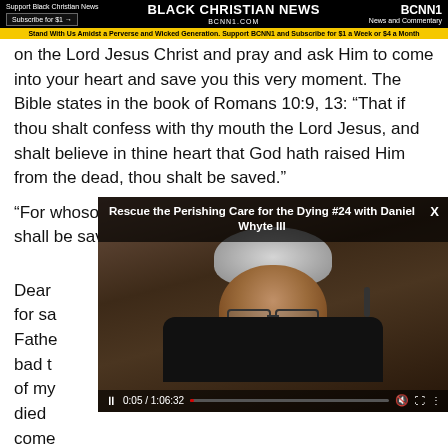Support Black Christian News | Subscribe for $1 | BLACK CHRISTIAN NEWS BCNN1.COM | BCNN1 News and Commentary
Stand With Us Amidst a Perverse and Wicked Generation. Support BCNN1 and Subscribe for $1 a Week or $4 a Month
on the Lord Jesus Christ and pray and ask Him to come into your heart and save you this very moment. The Bible states in the book of Romans 10:9, 13: “That if thou shalt confess with thy mouth the Lord Jesus, and shalt believe in thine heart that God hath raised Him from the dead, thou shalt be saved.”
“For whosoever shall call upon the name of the Lord shall be save
[Figure (screenshot): Embedded video player overlay showing a man in glasses with gray/white hair and beard sitting in a dark suit. Video title: 'Rescue the Perishing Care for the Dying #24 with Daniel Whyte III'. Controls show 0:05 / 1:06:32 timestamp. An X close button is visible top right.]
Dear
for sa
Fathe
bad t
of my
died
come